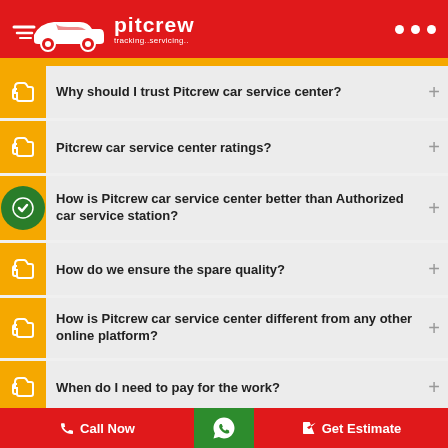[Figure (logo): Pitcrew logo with car icon, text 'pitcrew' and 'tracking..servicing..' on red header background]
Why should I trust Pitcrew car service center?
Pitcrew car service center ratings?
How is Pitcrew car service center better than Authorized car service station?
How do we ensure the spare quality?
How is Pitcrew car service center different from any other online platform?
When do I need to pay for the work?
Call Now   [WhatsApp]   Get Estimate